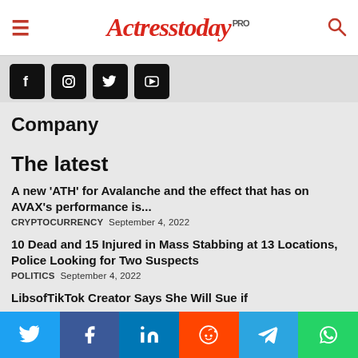Actresstoday PRO
[Figure (other): Social media icons: Facebook, Instagram, Twitter, YouTube on dark square buttons]
Company
The latest
A new ‘ATH’ for Avalanche and the effect that has on AVAX’s performance is...
CRYPTOCURRENCY  September 4, 2022
10 Dead and 15 Injured in Mass Stabbing at 13 Locations, Police Looking for Two Suspects
POLITICS  September 4, 2022
LibsofTikTok Creator Says She Will Sue if
[Figure (other): Bottom social sharing buttons: Twitter, Facebook, LinkedIn, Reddit, Telegram, WhatsApp]